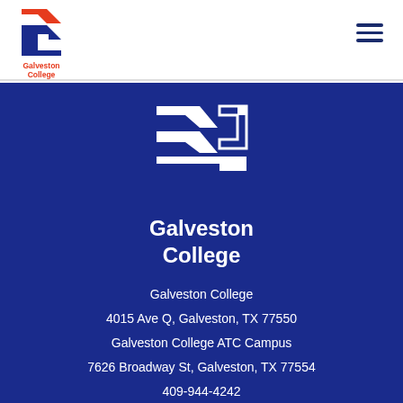[Figure (logo): Galveston College logo in header — red and blue chevron G mark with 'Galveston College' text below]
[Figure (logo): Galveston College white logo mark on dark blue background in footer]
Galveston College
Galveston College
4015 Ave Q, Galveston, TX 77550
Galveston College ATC Campus
7626 Broadway St, Galveston, TX 77554
409-944-4242